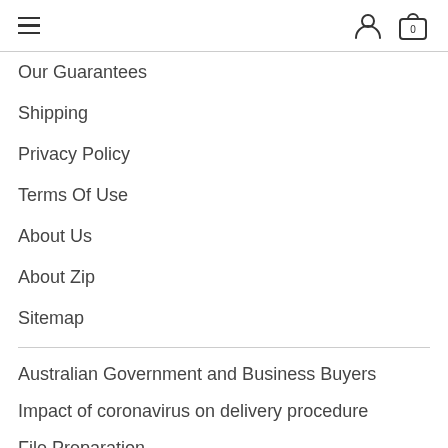hamburger menu, user icon, cart icon with 0
Our Guarantees
Shipping
Privacy Policy
Terms Of Use
About Us
About Zip
Sitemap
Australian Government and Business Buyers
Impact of coronavirus on delivery procedure
File Preparation